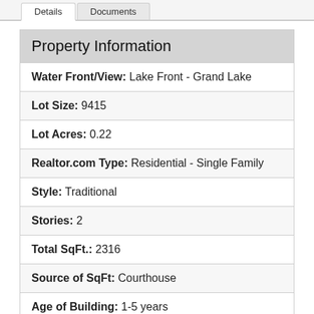Details | Documents
| Property Information |
| --- |
| Water Front/View: Lake Front - Grand Lake |
| Lot Size: 9415 |
| Lot Acres: 0.22 |
| Realtor.com Type: Residential - Single Family |
| Style: Traditional |
| Stories: 2 |
| Total SqFt.: 2316 |
| Source of SqFt: Courthouse |
| Age of Building: 1-5 years |
| Built Before 1978: No |
| Year Built: 1984 |